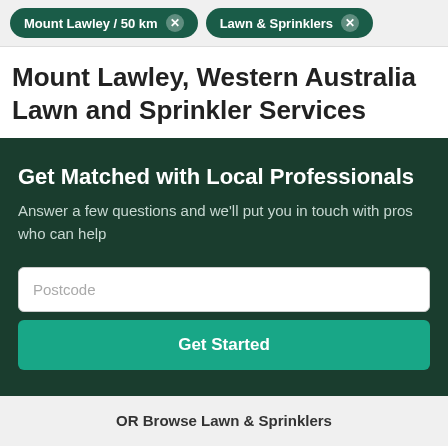Mount Lawley / 50 km  ×   Lawn & Sprinklers  ×
Mount Lawley, Western Australia Lawn and Sprinkler Services
Get Matched with Local Professionals
Answer a few questions and we'll put you in touch with pros who can help
Postcode
Get Started
OR Browse Lawn & Sprinklers